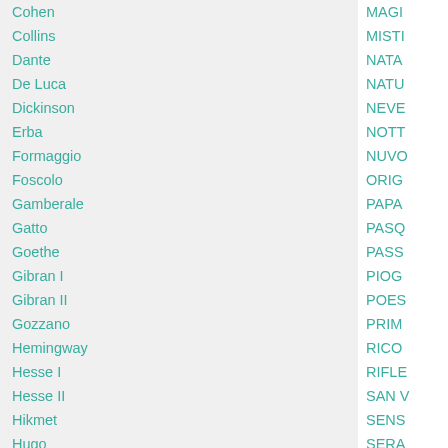Cohen
Collins
Dante
De Luca
Dickinson
Erba
Formaggio
Foscolo
Gamberale
Gatto
Goethe
Gibran I
Gibran II
Gozzano
Hemingway
Hesse I
Hesse II
Hikmet
Hugo
Jiménez
Keats
Leopardi I
Leopardi II
Lessing
Lorca
Luzi
Manzoni
Merini
MAGI
MISTI
NATA
NATU
NEVE
NOTT
NUVO
ORIG
PAPA
PASQ
PASS
PIOG
POES
PRIM
RICO
RIFLE
SAN V
SENS
SERA
SETT
SILEN
SOGN
SOLE
SORR
SPER
STEL
TEMP
VIAG